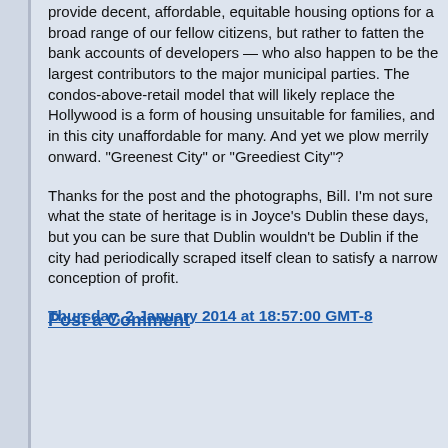provide decent, affordable, equitable housing options for a broad range of our fellow citizens, but rather to fatten the bank accounts of developers — who also happen to be the largest contributors to the major municipal parties. The condos-above-retail model that will likely replace the Hollywood is a form of housing unsuitable for families, and in this city unaffordable for many. And yet we plow merrily onward. "Greenest City" or "Greediest City"?
Thanks for the post and the photographs, Bill. I'm not sure what the state of heritage is in Joyce's Dublin these days, but you can be sure that Dublin wouldn't be Dublin if the city had periodically scraped itself clean to satisfy a narrow conception of profit.
Thursday, 2 January 2014 at 18:57:00 GMT-8
Post a Comment